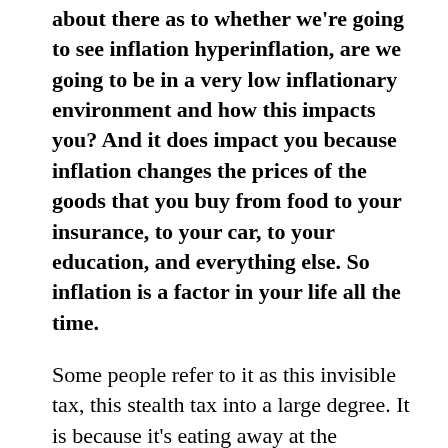about there as to whether we're going to see inflation hyperinflation, are we going to be in a very low inflationary environment and how this impacts you? And it does impact you because inflation changes the prices of the goods that you buy from food to your insurance, to your car, to your education, and everything else. So inflation is a factor in your life all the time.
Some people refer to it as this invisible tax, this stealth tax into a large degree. It is because it's eating away at the purchasing power of your dollar, but at the same time, it is good in other ways. And you're going to find today's episode this interview very